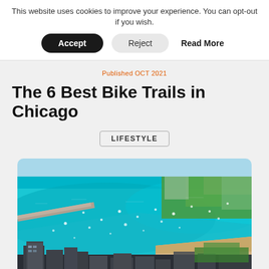This website uses cookies to improve your experience. You can opt-out if you wish.
Accept  Reject  Read More
Published OCT 2021
The 6 Best Bike Trails in Chicago
LIFESTYLE
[Figure (photo): Aerial view of Chicago lakefront showing Lake Michigan with boats, a pier, shoreline sandy beach, green parkland, and city skyscrapers in the foreground]